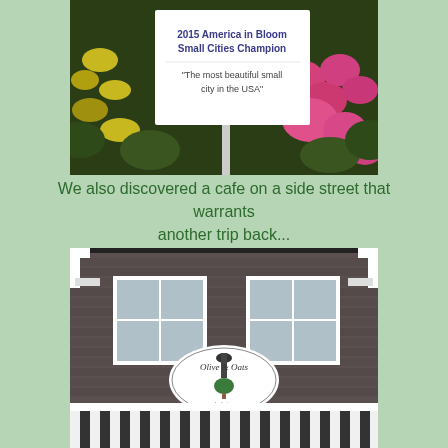[Figure (photo): A sign in a garden reading '2015 America in Bloom Small Cities Champion' and 'The most beautiful small city in the USA' surrounded by colorful flowers including pink blooms and yellow flowers with green foliage.]
We also discovered a cafe on a side street that warrants another trip back...
[Figure (photo): Exterior of a building with weathered gray cedar shingle siding, two white-framed windows, white corner trim brackets, and a sign reading 'Olive & Oats by Luisa'. A black and white striped awning is visible at the bottom.]